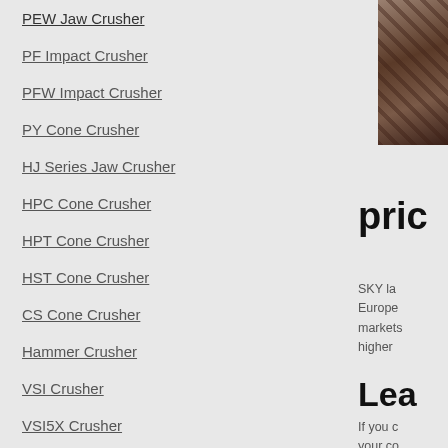PEW Jaw Crusher
PF Impact Crusher
PFW Impact Crusher
PY Cone Crusher
HJ Series Jaw Crusher
HPC Cone Crusher
HPT Cone Crusher
HST Cone Crusher
CS Cone Crusher
Hammer Crusher
VSI Crusher
VSI5X Crusher
[Figure (photo): Industrial crushing equipment photo, partially visible on right side]
pric
SKY la Europe markets higher
Lea
If you c your co
Grinding Equipment